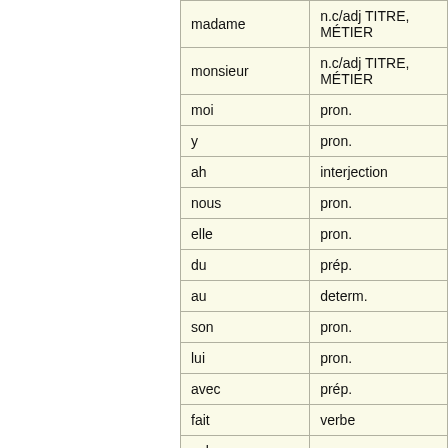| word | grammatical category |
| --- | --- |
| madame | n.c/adj TITRE, MÉTIER |
| monsieur | n.c/adj TITRE, MÉTIER |
| moi | pron. |
| y | pron. |
| ah | interjection |
| nous | pron. |
| elle | pron. |
| du | prép. |
| au | determ. |
| son | pron. |
| lui | pron. |
| avec | prép. |
| fait | verbe |
| cela | pron. |
| comme | conj.sub. |
| avez | verbe |